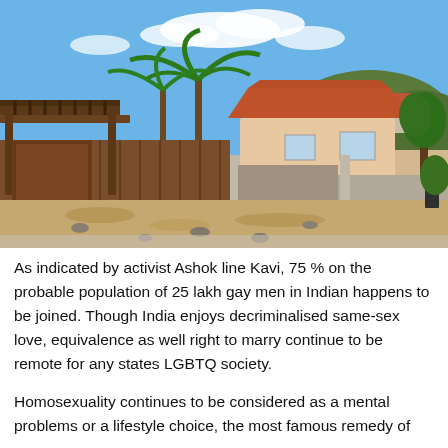[Figure (photo): Outdoor photograph showing a rustic wooden fence and gate structure with a covered pergola on the left, a residential building with an orange-red tiled roof in the background center-right, tropical palm trees, a hillside with more buildings in the far background, dry grass and scattered rocks in the foreground, under a partly cloudy blue sky.]
As indicated by activist Ashok line Kavi, 75 % on the probable population of 25 lakh gay men in Indian happens to be joined. Though India enjoys decriminalised same-sex love, equivalence as well right to marry continue to be remote for any states LGBTQ society.
Homosexuality continues to be considered as a mental problems or a lifestyle choice, the most famous remedy of